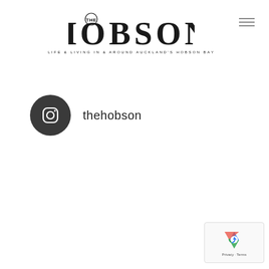[Figure (logo): The Hobson magazine logo — large serif text 'THE HOBSON' with 'THE' in a small circle above H, subtitle 'LIFE & LIVING IN & AROUND AUCKLAND'S HOBSON BAY']
[Figure (other): Hamburger menu icon — three horizontal grey lines]
[Figure (other): Instagram icon in dark grey circle followed by username 'thehobson']
[Figure (other): reCAPTCHA widget in bottom right corner showing recycling-arrow logo and 'Privacy - Terms' text]